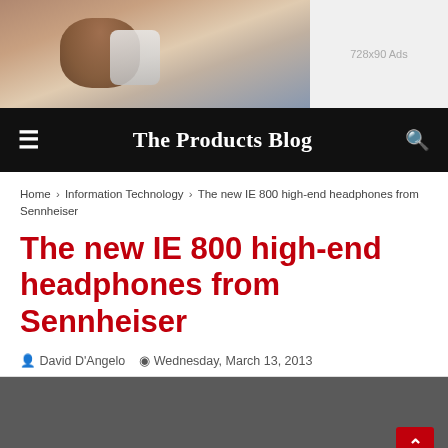[Figure (photo): Banner ad area showing a person holding a smartphone, with a 728x90 Ads placeholder on the right side]
The Products Blog
Home > Information Technology > The new IE 800 high-end headphones from Sennheiser
The new IE 800 high-end headphones from Sennheiser
David D'Angelo   Wednesday, March 13, 2013
[Figure (photo): Article image area, gray background, with a red back-to-top arrow button in the bottom right corner]